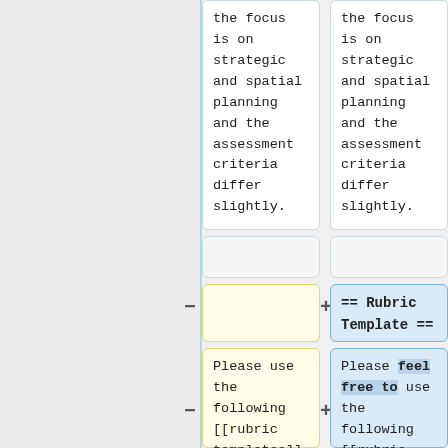the focus is on strategic and spatial planning and the assessment criteria differ slightly.
the focus is on strategic and spatial planning and the assessment criteria differ slightly.
== Rubric Template ==
Please use the following [[rubric templates]] for the assessment of student
Please feel free to use the following [[rubric templates]] for the assessment